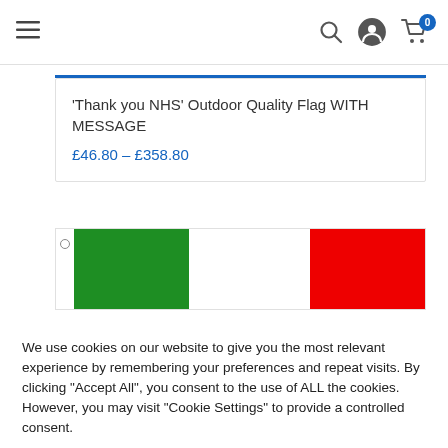Navigation bar with hamburger menu, search, user, and cart icons
'Thank you NHS' Outdoor Quality Flag WITH MESSAGE
£46.80 – £358.80
[Figure (photo): Green flag and red flag displayed side by side on a white background]
We use cookies on our website to give you the most relevant experience by remembering your preferences and repeat visits. By clicking "Accept All", you consent to the use of ALL the cookies. However, you may visit "Cookie Settings" to provide a controlled consent.
Cookie Settings
Accept All